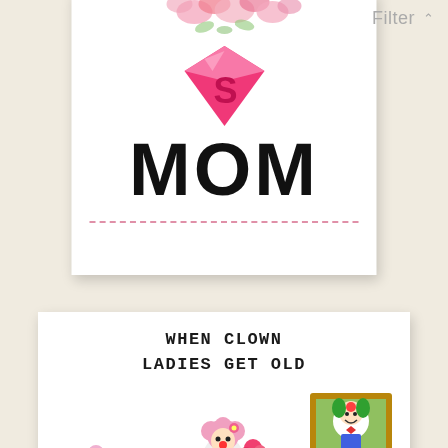Filter
[Figure (illustration): Top greeting card with pink flowers, Superman-style pink diamond logo, bold text MOM, and a dashed pink line separator]
[Figure (illustration): Bottom greeting card with text WHEN CLOWN LADIES GET OLD and cartoon illustration of elderly clown lady on couch with a framed clown portrait on wall]